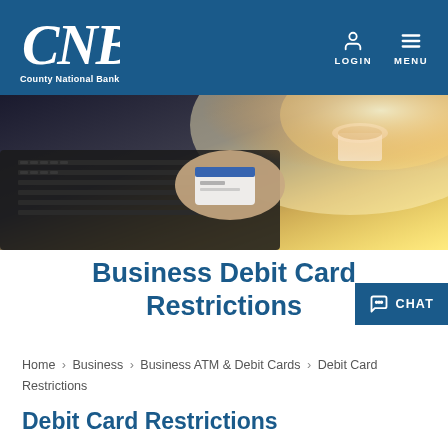CNB County National Bank | LOGIN | MENU
[Figure (photo): Person holding a credit card over a laptop keyboard with a coffee cup in the background, warm backlighting]
Business Debit Card Restrictions
CHAT
Home > Business > Business ATM & Debit Cards > Debit Card Restrictions
Debit Card Restrictions